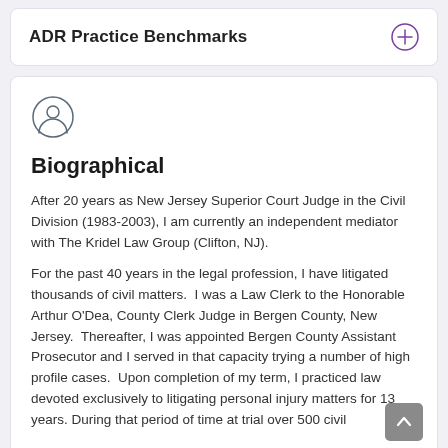ADR Practice Benchmarks
Biographical
After 20 years as New Jersey Superior Court Judge in the Civil Division (1983-2003), I am currently an independent mediator with The Kridel Law Group (Clifton, NJ).
For the past 40 years in the legal profession, I have litigated thousands of civil matters.  I was a Law Clerk to the Honorable Arthur O'Dea, County Clerk Judge in Bergen County, New Jersey.  Thereafter, I was appointed Bergen County Assistant Prosecutor and I served in that capacity trying a number of high profile cases.  Upon completion of my term, I practiced law devoted exclusively to litigating personal injury matters for 13 years. During that period of time at trial over 500 civil…